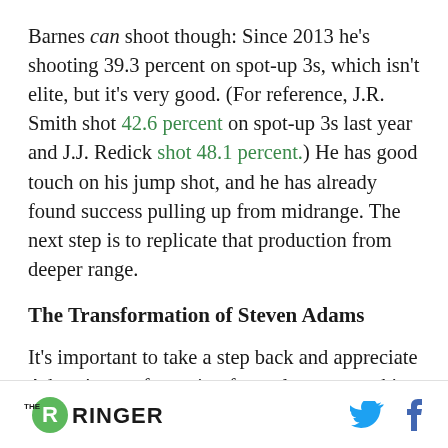Barnes can shoot though: Since 2013 he's shooting 39.3 percent on spot-up 3s, which isn't elite, but it's very good. (For reference, J.R. Smith shot 42.6 percent on spot-up 3s last year and J.J. Redick shot 48.1 percent.) He has good touch on his jump shot, and he has already found success pulling up from midrange. The next step is to replicate that production from deeper range.
The Transformation of Steven Adams
It's important to take a step back and appreciate Adams's transformation from clean-cut rookie to
THE RINGER